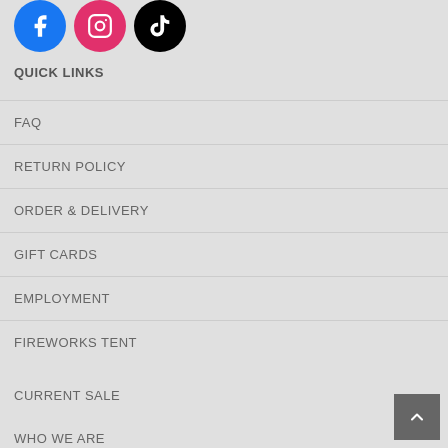[Figure (illustration): Three social media icon circles: Facebook (blue), Instagram (pink/magenta), TikTok (black)]
QUICK LINKS
FAQ
RETURN POLICY
ORDER & DELIVERY
GIFT CARDS
EMPLOYMENT
FIREWORKS TENT
CURRENT SALE
WHO WE ARE